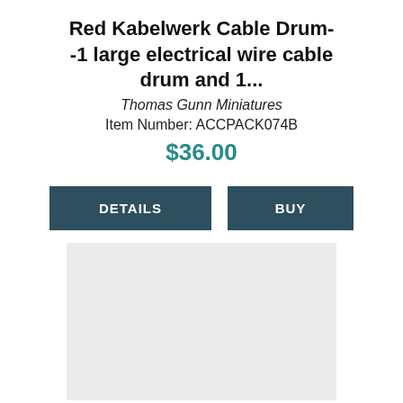Red Kabelwerk Cable Drum--1 large electrical wire cable drum and 1...
Thomas Gunn Miniatures
Item Number: ACCPACK074B
$36.00
DETAILS
BUY
[Figure (photo): Light gray placeholder image area]